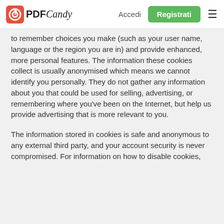PDF Candy — Accedi | Registrati
to remember choices you make (such as your user name, language or the region you are in) and provide enhanced, more personal features. The information these cookies collect is usually anonymised which means we cannot identify you personally. They do not gather any information about you that could be used for selling, advertising, or remembering where you've been on the Internet, but help us provide advertising that is more relevant to you.
The information stored in cookies is safe and anonymous to any external third party, and your account security is never compromised. For information on how to disable cookies, please consult the "Help" tab of your browser.